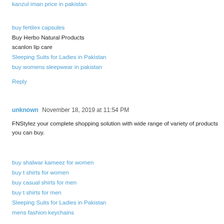kanzul iman price in pakistan
buy fertilex capsules
Buy Herbo Natural Products
scanlon lip care
Sleeping Suits for Ladies in Pakistan
buy womens sleepwear in pakistan
Reply
unknown November 18, 2019 at 11:54 PM
FNStylez your complete shopping solution with wide range of variety of products you can buy.
buy shalwar kameez for women
buy t shirts for women
buy casual shirts for men
buy t shirts for men
Sleeping Suits for Ladies in Pakistan
mens fashion keychains